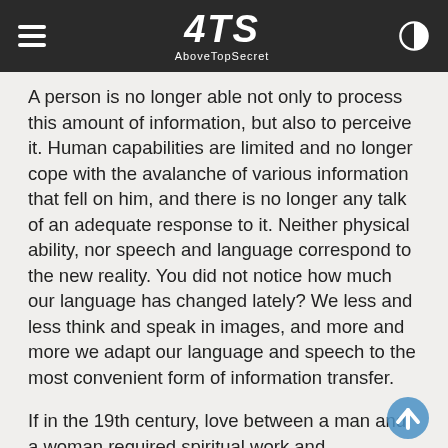ATS AboveTopSecret
A person is no longer able not only to process this amount of information, but also to perceive it. Human capabilities are limited and no longer cope with the avalanche of various information that fell on him, and there is no longer any talk of an adequate response to it. Neither physical ability, nor speech and language correspond to the new reality. You did not notice how much our language has changed lately? We less and less think and speak in images, and more and more we adapt our language and speech to the most convenient form of information transfer.
If in the 19th century, love between a man and a woman required spiritual work and experiences (remember Pushkin “I remember a wonderful moment, you appeared before me ...”) and it took a lot of time, now, due to its lack, it’s enough to get sex emoticons in the smartphone, T9 in the phone and the corresponding system of signals and coloring in clothes, as in the animal world. For the convenience of transmitting information at the household level, there are already a lot of new parties, such as the Albanian language. And when working with a computer in a person, the language is